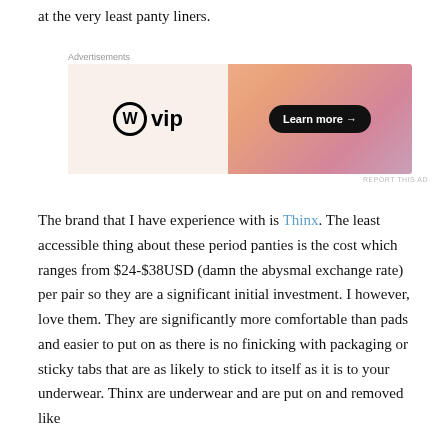at the very least panty liners.
[Figure (other): Advertisement banner for WordPress VIP with 'W vip' logo on left white section and 'Learn more →' button on right gradient background]
The brand that I have experience with is Thinx. The least accessible thing about these period panties is the cost which ranges from $24-$38USD (damn the abysmal exchange rate) per pair so they are a significant initial investment. I however, love them. They are significantly more comfortable than pads and easier to put on as there is no finicking with packaging or sticky tabs that are as likely to stick to itself as it is to your underwear. Thinx are underwear and are put on and removed like